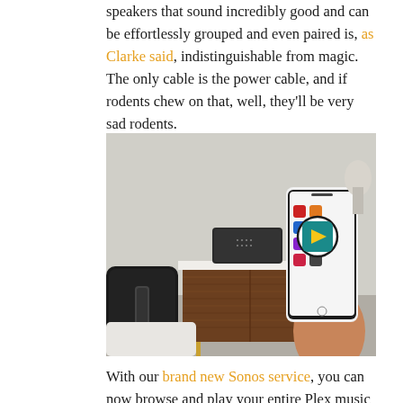speakers that sound incredibly good and can be effortlessly grouped and even paired is, as Clarke said, indistinguishable from magic. The only cable is the power cable, and if rodents chew on that, well, they'll be very sad rodents.
[Figure (photo): Photo of a Sonos speaker setup: a black Sonos sub woofer on the left, a black Sonos Play:5 speaker on a wooden credenza in the center, and a hand holding an iPhone displaying the Sonos app with a Plex icon highlighted in a circular overlay on the right. The background is a clean white/gray room.]
With our brand new Sonos service, you can now browse and play your entire Plex music collection on